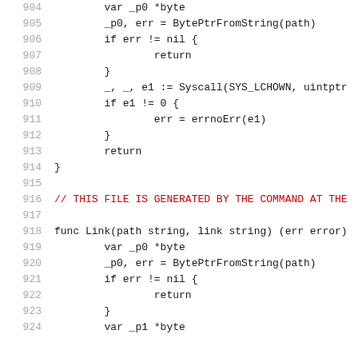904   var _p0 *byte
905   _p0, err = BytePtrFromString(path)
906   if err != nil {
907         return
908   }
909   _, _, e1 := Syscall(SYS_LCHOWN, uintptr...
910   if e1 != 0 {
911         err = errnoErr(e1)
912   }
913   return
914 }
915 
916   // THIS FILE IS GENERATED BY THE COMMAND AT THE
917 
918   func Link(path string, link string) (err error)
919         var _p0 *byte
920         _p0, err = BytePtrFromString(path)
921         if err != nil {
922               return
923         }
924         var _p1 *byte